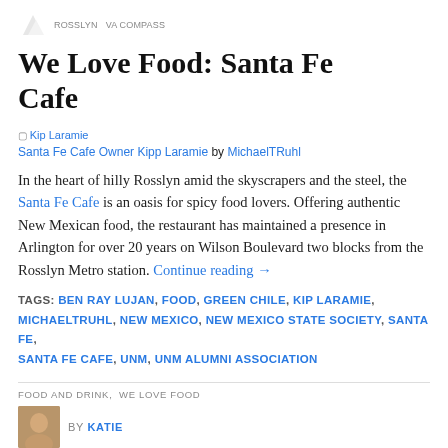We Love Food: Santa Fe Cafe
[Figure (photo): Broken image placeholder linking to Kip Laramie photo]
Santa Fe Cafe Owner Kipp Laramie by MichaelTRuhl
In the heart of hilly Rosslyn amid the skyscrapers and the steel, the Santa Fe Cafe is an oasis for spicy food lovers. Offering authentic New Mexican food, the restaurant has maintained a presence in Arlington for over 20 years on Wilson Boulevard two blocks from the Rosslyn Metro station. Continue reading →
TAGS: BEN RAY LUJAN, FOOD, GREEN CHILE, KIP LARAMIE, MICHAELTRUHL, NEW MEXICO, NEW MEXICO STATE SOCIETY, SANTA FE, SANTA FE CAFE, UNM, UNM ALUMNI ASSOCIATION
FOOD AND DRINK, WE LOVE FOOD
BY KATIE